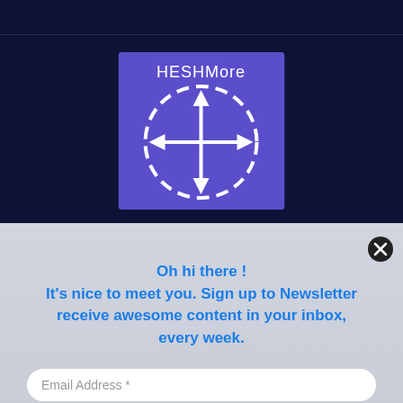[Figure (logo): HESHMore logo: purple square with white dashed circle and four-directional arrow icon, text 'HESHMore' at top]
Oh hi there !
It's nice to meet you. Sign up to Newsletter receive awesome content in your inbox, every week.
Email Address *